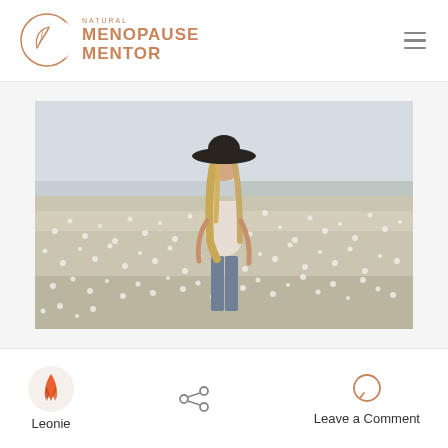Natural Menopause Mentor
[Figure (photo): Woman with a wide-brim black hat standing in a field of small white wildflowers, viewed from behind, wearing a light pink top and jeans, with a calm overcast sky and distant coastline in the background.]
Leonie
Leave a Comment